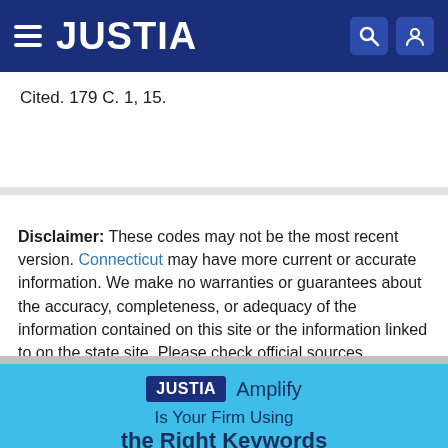JUSTIA
Cited. 179 C. 1, 15.
Disclaimer: These codes may not be the most recent version. Connecticut may have more current or accurate information. We make no warranties or guarantees about the accuracy, completeness, or adequacy of the information contained on this site or the information linked to on the state site. Please check official sources.
JUSTIA Amplify
Is Your Firm Using
the Right Keywords
on Google Ads?